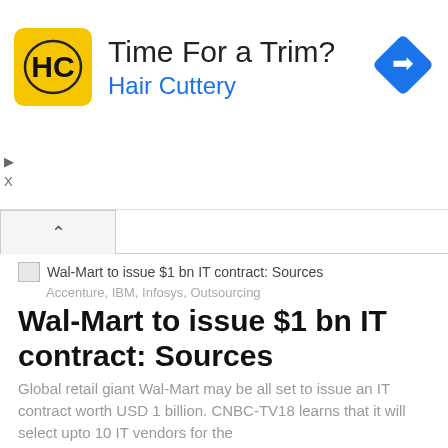[Figure (advertisement): Hair Cuttery advertisement with yellow HC logo, 'Time For a Trim?' headline, blue 'Hair Cuttery' text, and a blue navigation/map icon on the right]
Wal-Mart to issue $1 bn IT contract: Sources
Accenture, IBM, Infosys, Outsourcing
Wal-Mart to issue $1 bn IT contract: Sources
Global retail giant Wal-Mart may be all set to issue an IT contract worth USD 1 billion. CNBC-TV18 learns that it will select upto 10 IT vendors for the
IBM wins $200 mn telco services deal in India
IBM, IT market, New Deals
IBM wins $200 mn telco services deal in India